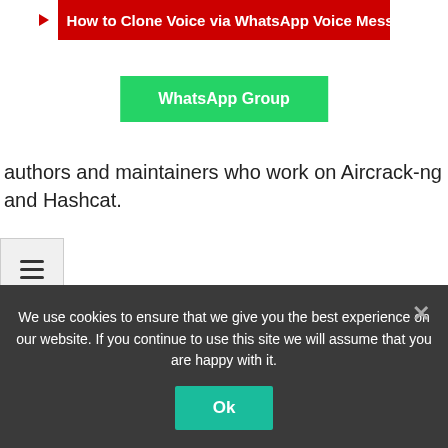[Figure (screenshot): YouTube banner button with play icon and text 'How to Clone Voice via WhatsApp Voice Message' on red background]
[Figure (screenshot): Green WhatsApp Group button]
authors and maintainers who work on Aircrack-ng and Hashcat.
[Figure (screenshot): Hamburger menu icon in grey box]
ce:https://github.com/brannondorsey/wifi-cracking
We use cookies to ensure that we give you the best experience on our website. If you continue to use this site we will assume that you are happy with it.
[Figure (screenshot): Ok button in teal/green color]